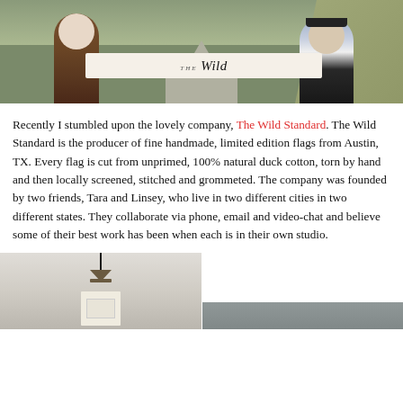[Figure (photo): Two people standing on a road holding a banner that reads 'The Wild Standard'. Left person wears a brown coat, right person wears a denim jacket and hat.]
Recently I stumbled upon the lovely company, The Wild Standard. The Wild Standard is the producer of fine handmade, limited edition flags from Austin, TX. Every flag is cut from unprimed, 100% natural duck cotton, torn by hand and then locally screened, stitched and grommeted. The company was founded by two friends, Tara and Linsey, who live in two different cities in two different states. They collaborate via phone, email and video-chat and believe some of their best work has been when each is in their own studio.
[Figure (photo): Two photos side by side: left shows a flag hanging under a pendant lamp, right shows an outdoor/sky scene.]